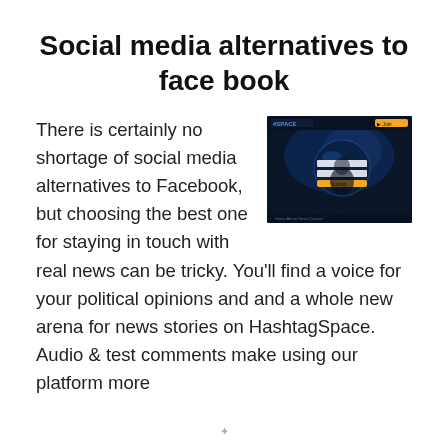Social media alternatives to face book
[Figure (screenshot): Screenshot of HashtagSpace website with dark space-themed background showing a user interface with login form, orange button, and #SPACE branding]
There is certainly no shortage of social media alternatives to Facebook, but choosing the best one for staying in touch with real news can be tricky. You’ll find a voice for your political opinions and and a whole new arena for news stories on HashtagSpace. Audio & test comments make using our platform more